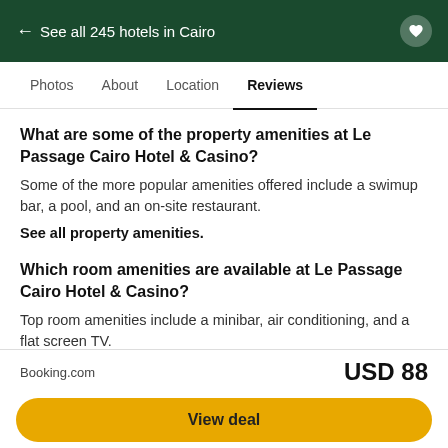← See all 245 hotels in Cairo
Photos   About   Location   Reviews
What are some of the property amenities at Le Passage Cairo Hotel & Casino?
Some of the more popular amenities offered include a swimup bar, a pool, and an on-site restaurant.
See all property amenities.
Which room amenities are available at Le Passage Cairo Hotel & Casino?
Top room amenities include a minibar, air conditioning, and a flat screen TV.
See all room amenities.
Booking.com   USD 88   View deal